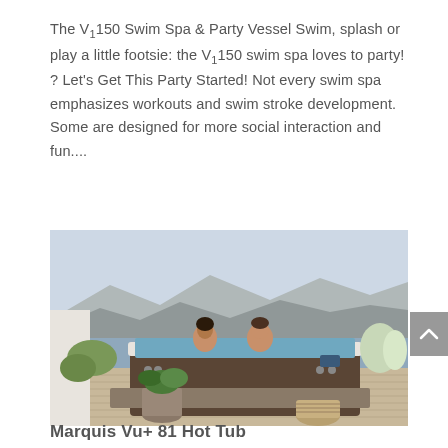The V150 Swim Spa & Party Vessel Swim, splash or play a little footsie: the V150 swim spa loves to party! ? Let's Get This Party Started! Not every swim spa emphasizes workouts and swim stroke development. Some are designed for more social interaction and fun....
[Figure (photo): A couple sitting in a large outdoor hot tub/swim spa (V150) on a deck with a scenic lake and mountain view in the background. A potted plant and a basket are visible in the foreground.]
Marquis Vu+ 81 Hot Tub